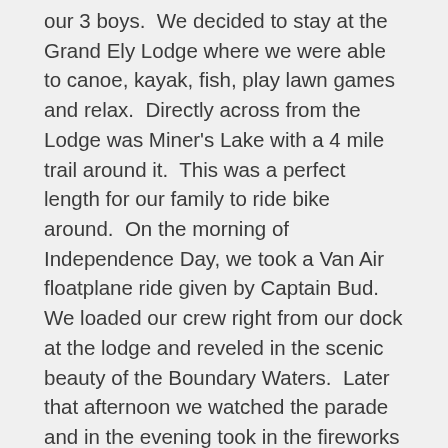our 3 boys.  We decided to stay at the Grand Ely Lodge where we were able to canoe, kayak, fish, play lawn games and relax.  Directly across from the Lodge was Miner's Lake with a 4 mile trail around it.  This was a perfect length for our family to ride bike around.  On the morning of Independence Day, we took a Van Air floatplane ride given by Captain Bud.  We loaded our crew right from our dock at the lodge and reveled in the scenic beauty of the Boundary Waters.  Later that afternoon we watched the parade and in the evening took in the fireworks over Miner's Lake.  One day we visited Lucky, Honey, and Ted at the North American Bear Center.  It was fun to watch them on the outdoor viewing deck eating grapes and apples.  Our boys enjoy geocaching, so one afternoon we went to Bear Head Lake State Park to explore.  As hiking is also a favorite of ours, we hiked the relatively short Kawishiwi Falls trail to view the waterfall.  Of course, it's rare to have a vacation without at least one rainy day, but we were able to stay active by browsing some of the